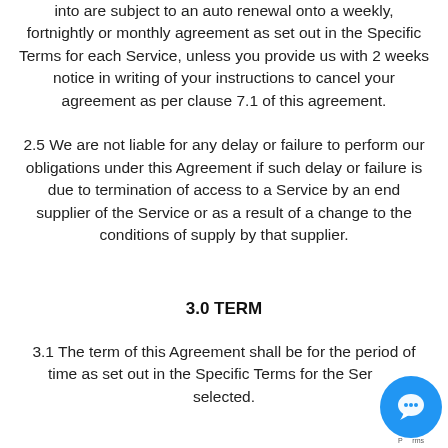into are subject to an auto renewal onto a weekly, fortnightly or monthly agreement as set out in the Specific Terms for each Service, unless you provide us with 2 weeks notice in writing of your instructions to cancel your agreement as per clause 7.1 of this agreement.
2.5 We are not liable for any delay or failure to perform our obligations under this Agreement if such delay or failure is due to termination of access to a Service by an end supplier of the Service or as a result of a change to the conditions of supply by that supplier.
3.0 TERM
3.1 The term of this Agreement shall be for the period of time as set out in the Specific Terms for the Service selected.